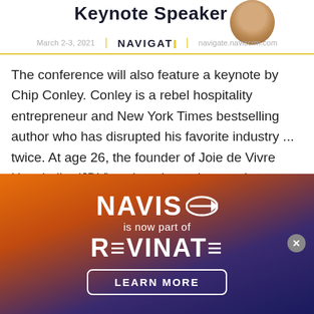Keynote Speaker
March 2-3, 2021 | NAVIGATE | navigate.naviscrm.com
The conference will also feature a keynote by Chip Conley. Conley is a rebel hospitality entrepreneur and New York Times bestselling author who has disrupted his favorite industry ... twice. At age 26, the founder of Joie de Vivre Hospitality (JDV) took an innercity motel
[Figure (logo): NAVIS logo with arrow icon, text 'is now part of', REVINATE logo, and LEARN MORE button on orange-to-blue gradient background]